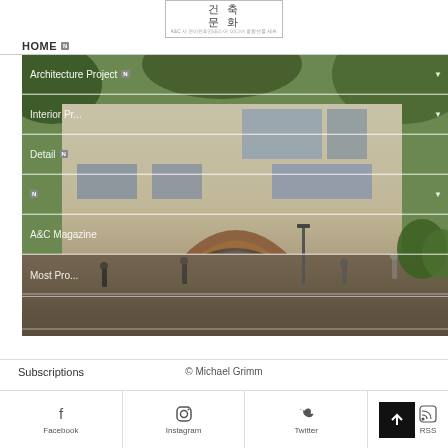[Figure (logo): Korean architecture culture website logo with Korean characters 건문화 in a box]
HOME N
[Figure (photo): Exterior photo of a modern brick building with a large wooden arched entrance, surrounded by trees and people walking on a plaza]
Architecture Project N
Interior Pr...
Detail N
N
A&C Magazine
Most Pro...
Subscriptions
© Michael Grimm
Facebook
Instagram
Twitter
RSS